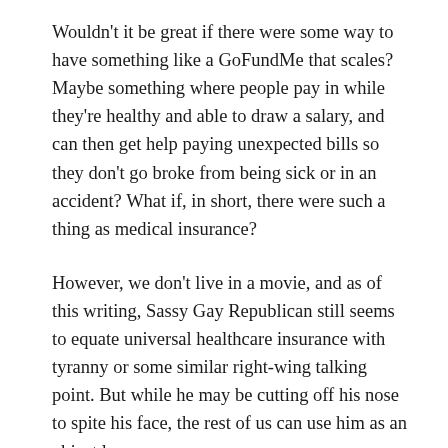Wouldn't it be great if there were some way to have something like a GoFundMe that scales? Maybe something where people pay in while they're healthy and able to draw a salary, and can then get help paying unexpected bills so they don't go broke from being sick or in an accident? What if, in short, there were such a thing as medical insurance?
However, we don't live in a movie, and as of this writing, Sassy Gay Republican still seems to equate universal healthcare insurance with tyranny or some similar right-wing talking point. But while he may be cutting off his nose to spite his face, the rest of us can use him as an object lesson.